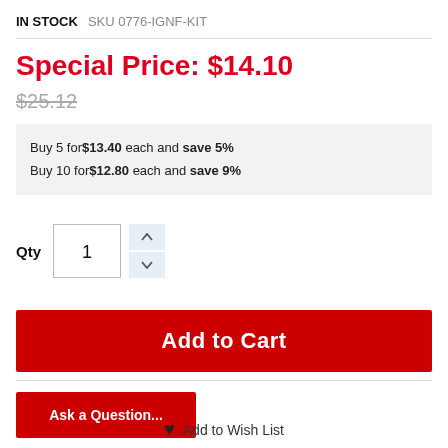IN STOCK  SKU 0776-IGNF-KIT
Special Price: $14.10
$25.12
Buy 5 for$13.40 each and save 5%
Buy 10 for$12.80 each and save 9%
Qty  1
Add to Cart
Ask a Question...
Add to Wish List